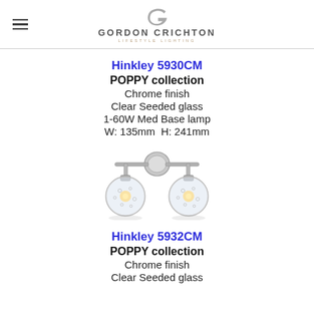Gordon Crichton Lifestyle Lighting
Hinkley 5930CM
POPPY collection
Chrome finish
Clear Seeded glass
1-60W Med Base lamp
W: 135mm  H: 241mm
[Figure (photo): Chrome two-light bathroom vanity wall sconce with two clear seeded glass globe shades, Hinkley Poppy collection]
Hinkley 5932CM
POPPY collection
Chrome finish
Clear Seeded glass